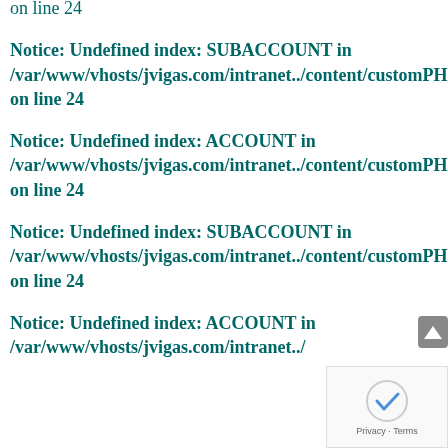on line 24
Notice: Undefined index: SUBACCOUNT in /var/www/vhosts/jvigas.com/intranet.../content/customPHP/inicio_login.php on line 24
Notice: Undefined index: ACCOUNT in /var/www/vhosts/jvigas.com/intranet.../content/customPHP/inicio_login.php on line 24
Notice: Undefined index: SUBACCOUNT in /var/www/vhosts/jvigas.com/intranet.../content/customPHP/inicio_login.php on line 24
Notice: Undefined index: ACCOUNT in /var/www/vhosts/jvigas.com/intranet.../content/customPHP/inicio_login.php